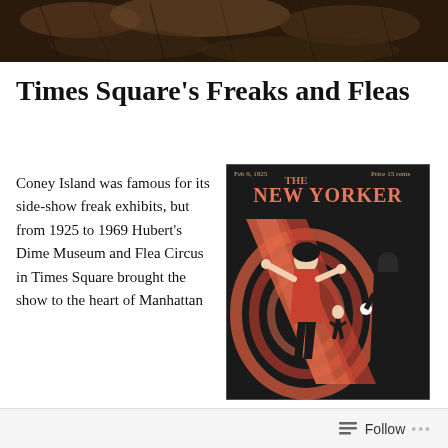[Figure (photo): Dark fur or hair texture photograph used as header banner]
Times Square’s Freaks and Fleas
Coney Island was famous for its side-show freak exhibits, but from 1925 to 1969 Hubert’s Dime Museum and Flea Circus in Times Square brought the show to the heart of Manhattan
[Figure (illustration): The New Yorker magazine cover showing Art Deco illustration of dancers in red and black, with text 'THE NEW YORKER' and 'Price 15 cents']
Follow